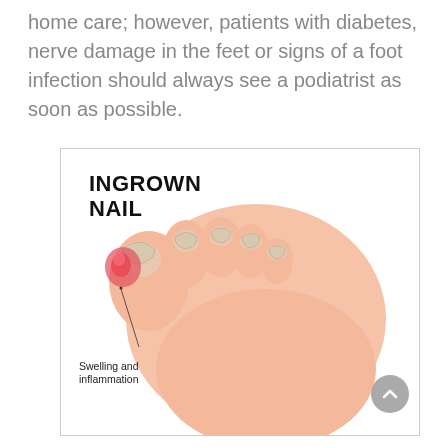home care; however, patients with diabetes, nerve damage in the feet or signs of a foot infection should always see a podiatrist as soon as possible.
[Figure (illustration): Medical illustration showing a foot (top view) with ingrown nail on the big toe. The big toe shows redness and swelling at the nail edge labeled 'Swelling and inflammation'. The diagram is titled 'INGROWN NAIL' in bold black text.]